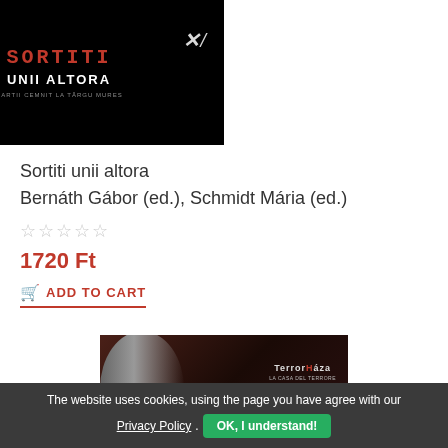[Figure (photo): Book cover with dark/black background showing 'SORTITI UNII ALTORA' title text in white/red on black, with small subtitle text and an X logo mark]
Sortiti unii altora
Bernáth Gábor (ed.), Schmidt Mária (ed.)
☆☆☆☆☆
1720 Ft
ADD TO CART
[Figure (photo): Second book cover - Terror Háza (House of Terror) with dark reddish-brown background showing a stone sculpture/bust on the left and Terror Háza text logo on the right]
The website uses cookies, using the page you have agree with our Privacy Policy. OK, I understand!